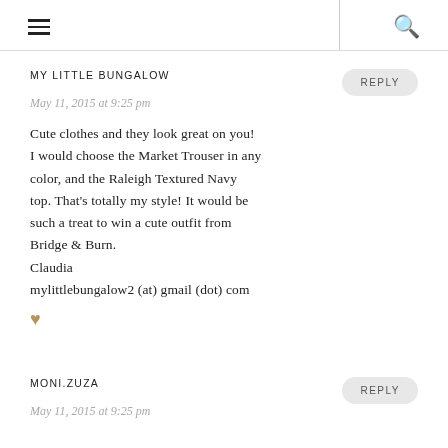≡  Q
MY LITTLE BUNGALOW
May 11, 2015 at 9:25 pm
Cute clothes and they look great on you! I would choose the Market Trouser in any color, and the Raleigh Textured Navy top. That's totally my style! It would be such a treat to win a cute outfit from Bridge & Burn.
Claudia
mylittlebungalow2 (at) gmail (dot) com
♥
REPLY
MONI.ZUZA
REPLY
May 11, 2015 at 9:25 pm